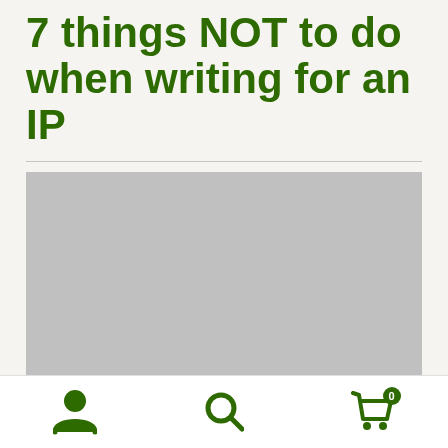7 things NOT to do when writing for an IP
[Figure (photo): Gray placeholder image representing a photo or illustration related to writing for an IP]
User icon, Search icon, Cart icon with badge showing 0